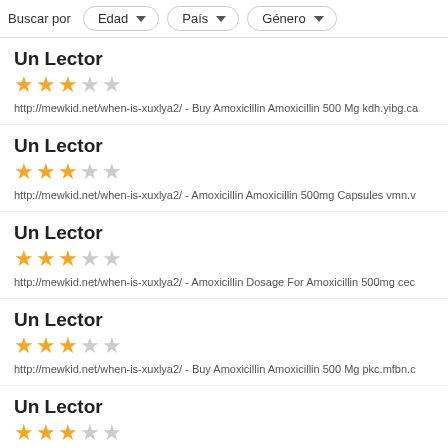Buscar por  Edad  País  Género
Un Lector
★★★☆☆
http://mewkid.net/when-is-xuxlya2/ - Buy Amoxicillin Amoxicillin 500 Mg kdh.yibg.ca
Un Lector
★★★☆☆
http://mewkid.net/when-is-xuxlya2/ - Amoxicillin Amoxicillin 500mg Capsules vmn.v
Un Lector
★★★☆☆
http://mewkid.net/when-is-xuxlya2/ - Amoxicillin Dosage For Amoxicillin 500mg cec
Un Lector
★★★☆☆
http://mewkid.net/when-is-xuxlya2/ - Buy Amoxicillin Amoxicillin 500 Mg pkc.mfbn.c
Un Lector
★★★☆☆